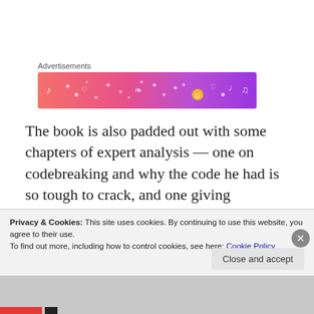Advertisements
[Figure (illustration): Advertisement banner with gradient background from pink/orange to purple, decorated with small white music notes, hearts, and sparkle icons]
The book is also padded out with some chapters of expert analysis — one on codebreaking and why the code he had is so tough to crack, and one giving commentary on the autopsy. That's great, but why are these just whacked in at the end instead of incorporated into a narrative? It ends with her previously published short story in which a
Privacy & Cookies: This site uses cookies. By continuing to use this website, you agree to their use.
To find out more, including how to control cookies, see here: Cookie Policy
Close and accept